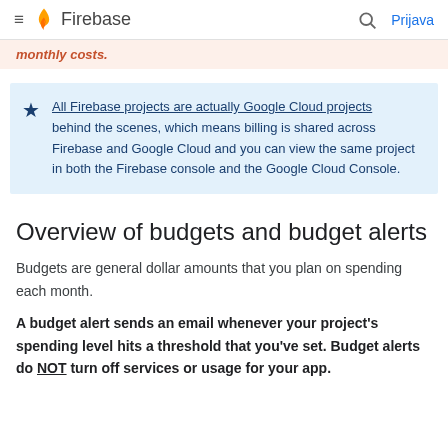Firebase  Prijava
monthly costs.
All Firebase projects are actually Google Cloud projects behind the scenes, which means billing is shared across Firebase and Google Cloud and you can view the same project in both the Firebase console and the Google Cloud Console.
Overview of budgets and budget alerts
Budgets are general dollar amounts that you plan on spending each month.
A budget alert sends an email whenever your project's spending level hits a threshold that you've set. Budget alerts do NOT turn off services or usage for your app.